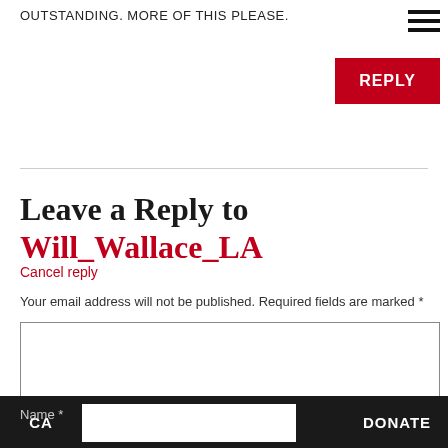OUTSTANDING. MORE OF THIS PLEASE.
REPLY
Leave a Reply to Will_Wallace_LA
Cancel reply
Your email address will not be published. Required fields are marked *
Name *
CA
DONATE